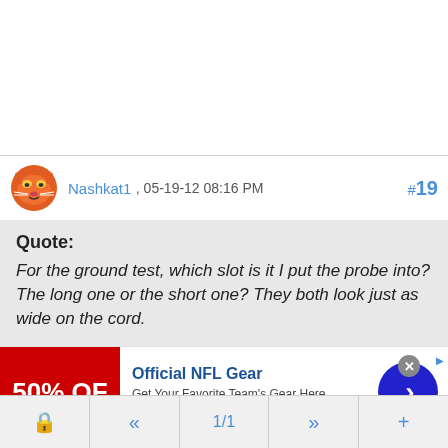[Figure (screenshot): Top white area of a forum page]
Nashkat1 , 05-19-12 08:16 PM #19
Quote: For the ground test, which slot is it I put the probe into? The long one or the short one? They both look just as wide on the cord.
[Figure (infographic): Ad banner: Official NFL Gear - 50% OFF, Get Your Favorite Team's Gear Here, www.nflshop.com]
« 1/1 »